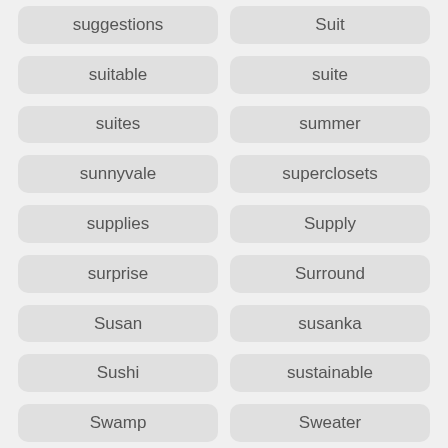suggestions
Suit
suitable
suite
suites
summer
sunnyvale
superclosets
supplies
Supply
surprise
Surround
Susan
susanka
Sushi
sustainable
Swamp
Sweater